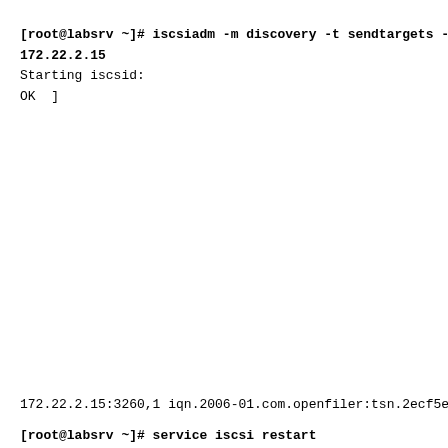[root@labsrv ~]# iscsiadm -m discovery -t sendtargets -p
172.22.2.15
Starting iscsid:                                           [
OK  ]
172.22.2.15:3260,1 iqn.2006-01.com.openfiler:tsn.2ecf5e4b6025
[root@labsrv ~]# service iscsi restart
Stopping iscsi:                                            [